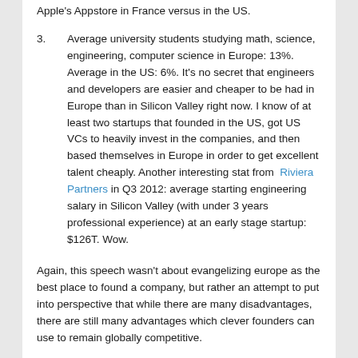Apple's Appstore in France versus in the US.
3.      Average university students studying math, science, engineering, computer science in Europe: 13%.  Average in the US: 6%.  It's no secret that engineers and developers are easier and cheaper to be had in Europe than in Silicon Valley right now.  I know of at least two startups that founded in the US, got US VCs to heavily invest in the companies, and then based themselves in Europe in order to get excellent talent cheaply.  Another interesting stat from  Riviera Partners in Q3 2012: average starting engineering salary in Silicon Valley (with under 3 years professional experience) at an early stage startup: $126T. Wow.
Again, this speech wasn't about evangelizing europe as the best place to found a company, but rather an attempt to put into perspective that while there are many disadvantages, there are still many advantages which clever founders can use to remain globally competitive.